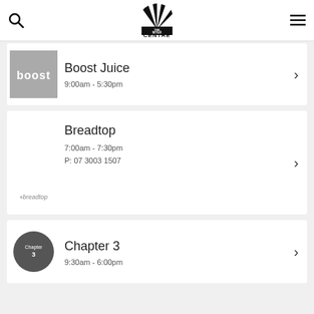THE MYER CENTRE
Boost Juice | 9:00am - 5:30pm
Breadtop | 7:00am - 7:30pm | P: 07 3003 1507
Chapter 3 | 9:30am - 6:00pm